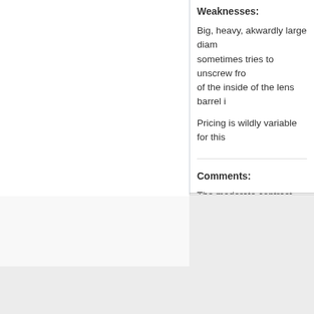Weaknesses:
Big, heavy, akwardly large diam sometimes tries to unscrew fro of the inside of the lens barrel i
Pricing is wildly variable for this
Comments:
The moderate contrast and sm live view on LCD or EVF for fo
Comments (0)